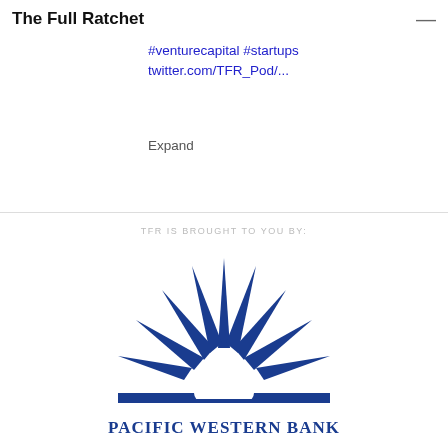The Full Ratchet
before investing. Thanks for hosting me! #diversefounders #venturecapital #startups twitter.com/TFR_Pod/...
Expand
TFR IS BROUGHT TO YOU BY:
[Figure (logo): Pacific Western Bank logo — dark blue sunburst rays above a white semicircle, with 'PACIFIC WESTERN BANK' in bold dark blue serif text below]